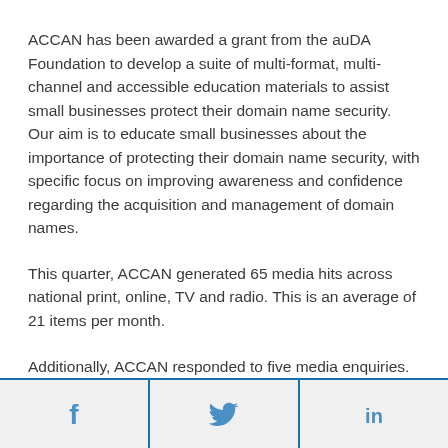ACCAN has been awarded a grant from the auDA Foundation to develop a suite of multi-format, multi-channel and accessible education materials to assist small businesses protect their domain name security.  Our aim is to educate small businesses about the importance of protecting their domain name security, with specific focus on improving awareness and confidence regarding the acquisition and management of domain names.
This quarter, ACCAN generated 65 media hits across national print, online, TV and radio. This is an average of 21 items per month.
Additionally, ACCAN responded to five media enquiries. These covered a range of topics including the 2021 Regional Telecommunications Review, and mobile black
[Figure (other): Social share buttons for Facebook, Twitter, and LinkedIn]